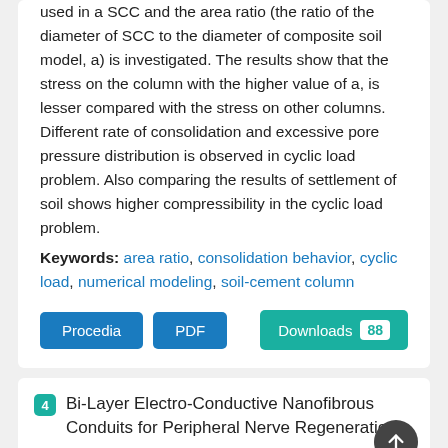used in a SCC and the area ratio (the ratio of the diameter of SCC to the diameter of composite soil model, a) is investigated. The results show that the stress on the column with the higher value of a, is lesser compared with the stress on other columns. Different rate of consolidation and excessive pore pressure distribution is observed in cyclic load problem. Also comparing the results of settlement of soil shows higher compressibility in the cyclic load problem.
Keywords: area ratio, consolidation behavior, cyclic load, numerical modeling, soil-cement column
Procedia | PDF | Downloads 88
4 Bi-Layer Electro-Conductive Nanofibrous Conduits for Peripheral Nerve Regeneration